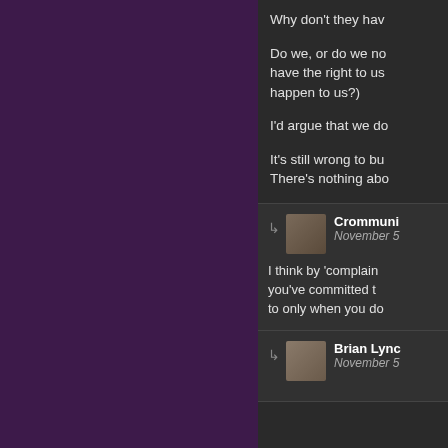Why don't they hav
Do we, or do we no have the right to us happen to us?)
I'd argue that we do
It's still wrong to bu There's nothing abo
Crommuni November 5
I think by 'complain you've committed t to only when you do
Brian Lync November 5